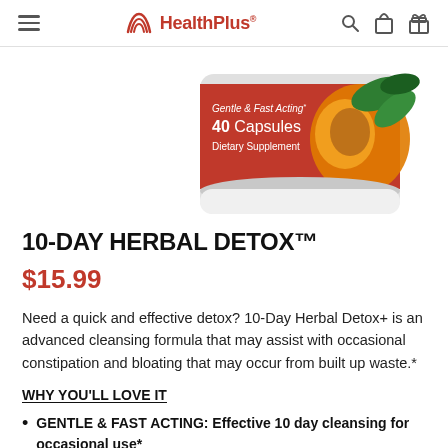HealthPlus
[Figure (photo): Partial view of a red cylindrical supplement bottle labeled 'Gentle & Fast Acting, 40 Capsules, Dietary Supplement' with papaya fruit imagery on the label.]
10-DAY HERBAL DETOX™
$15.99
Need a quick and effective detox? 10-Day Herbal Detox+ is an advanced cleansing formula that may assist with occasional constipation and bloating that may occur from built up waste.*
WHY YOU'LL LOVE IT
GENTLE & FAST ACTING: Effective 10 day cleansing for occasional use*